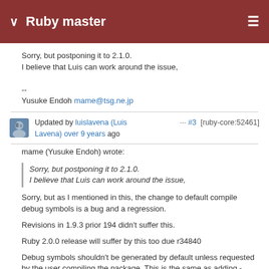Ruby master
Sorry, but postponing it to 2.1.0.
I believe that Luis can work around the issue,

--
Yusuke Endoh mame@tsg.ne.jp
Updated by luislavena (Luis Lavena) over 9 years ago  ··· #3 [ruby-core:52461]
mame (Yusuke Endoh) wrote:
Sorry, but postponing it to 2.1.0.
I believe that Luis can work around the issue,
Sorry, but as I mentioned in this, the change to default compile debug symbols is a bug and a regression.
Revisions in 1.9.3 prior 194 didn't suffer this.
Ruby 2.0.0 release will suffer by this too due r34840
Debug symbols shouldn't be generated by default unless requested by the user compiling the package. This is the same as adding -Werror, shouldn't be done by default